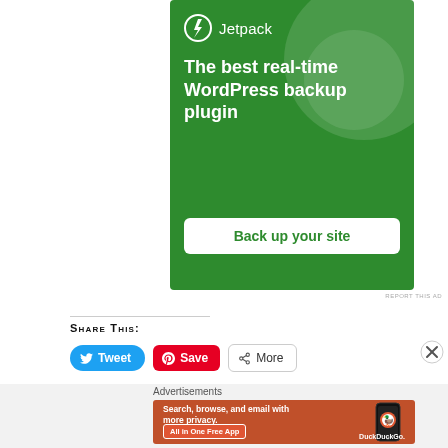[Figure (illustration): Jetpack advertisement with green background showing lightning bolt logo, brand name 'Jetpack', tagline 'The best real-time WordPress backup plugin', and white button 'Back up your site']
REPORT THIS AD
SHARE THIS:
[Figure (illustration): Tweet button (blue), Save button (red Pinterest), More button (share icon) for social sharing]
Advertisements
[Figure (illustration): DuckDuckGo advertisement on orange-red background: 'Search, browse, and email with more privacy. All in One Free App' with phone image and DuckDuckGo logo]
REPORT THIS AD